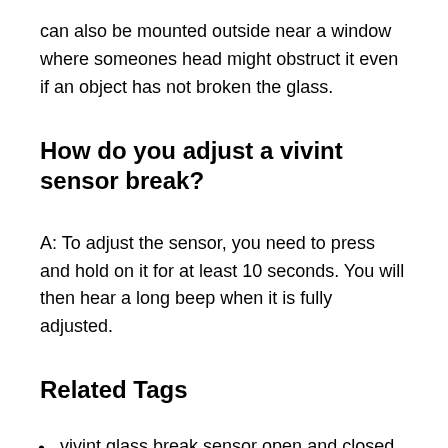can also be mounted outside near a window where someones head might obstruct it even if an object has not broken the glass.
How do you adjust a vivint sensor break?
A: To adjust the sensor, you need to press and hold on it for at least 10 seconds. You will then hear a long beep when it is fully adjusted.
Related Tags
vivint glass break sensor open and closed
how to test vivint glass break sensor